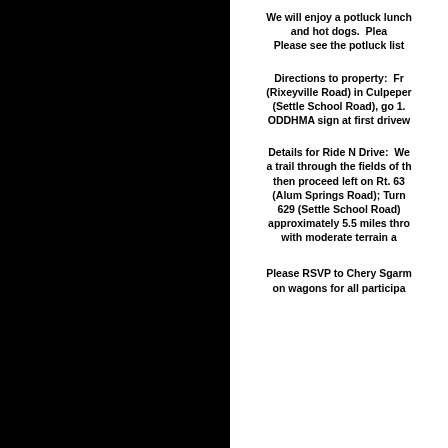We will enjoy a potluck lunch and hot dogs.  Plea Please see the potluck list
Directions to property:  Fr (Rixeyville Road) in Culpeper (Settle School Road), go 1. ODDHMA sign at first drivew
Details for Ride N Drive:  We a trail through the fields of th then proceed left on Rt. 63 (Alum Springs Road); Turn 629 (Settle School Road) approximately 5.5 miles thro with moderate terrain a
Please RSVP to Chery Sgarm on wagons for all participa